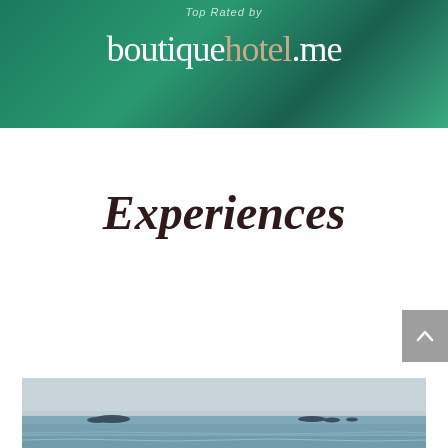[Figure (logo): boutiquehotel.me logo on dark green background with text 'Top Rated by' above]
Experiences
[Figure (photo): Aerial/distant photo of ocean with small rocky islands visible on the horizon, calm grey-blue sea and sky]